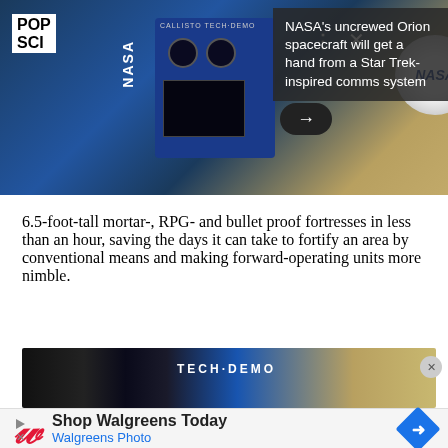[Figure (photo): NASA Callisto Tech Demo device mounted inside space station, showing blue panel with circular lenses and NASA logo badge. Top-right overlay with headline text.]
NASA's uncrewed Orion spacecraft will get a hand from a Star Trek-inspired comms system
6.5-foot-tall mortar-, RPG- and bullet proof fortresses in less than an hour, saving the days it can take to fortify an area by conventional means and making forward-operating units more nimble.
[Figure (photo): Close-up of NASA Callisto Tech Demo device showing blue panel with TECH·DEMO text and adjacent metallic surface.]
Shop Walgreens Today
Walgreens Photo